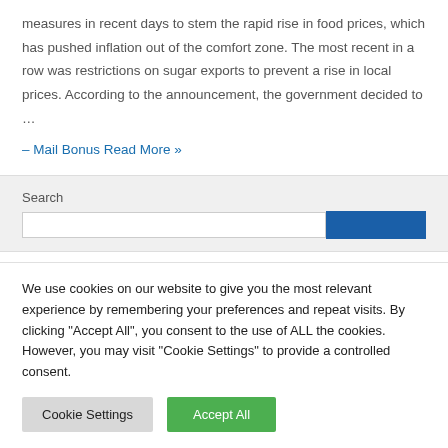measures in recent days to stem the rapid rise in food prices, which has pushed inflation out of the comfort zone. The most recent in a row was restrictions on sugar exports to prevent a rise in local prices. According to the announcement, the government decided to …
– Mail Bonus Read More »
Search
We use cookies on our website to give you the most relevant experience by remembering your preferences and repeat visits. By clicking "Accept All", you consent to the use of ALL the cookies. However, you may visit "Cookie Settings" to provide a controlled consent.